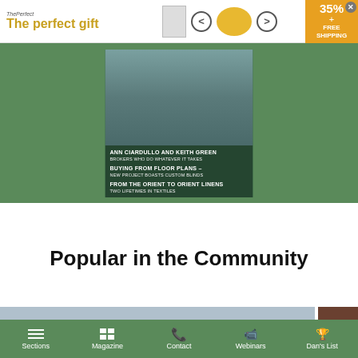[Figure (screenshot): Advertisement banner: 'The perfect gift' with book and bowl imagery, navigation arrows, 35% + FREE SHIPPING offer]
[Figure (photo): Magazine cover on green background showing text: ANN CIARDULLO AND KEITH GREEN BROKERS WHO DO WHATEVER IT TAKES, BUYING FROM FLOOR PLANS – NEW PROJECT BOASTS CUSTOM BLINDS, FROM THE ORIENT TO ORIENT LINENS TWO LIFETIMES IN TEXTILES]
Popular in the Community
[Figure (photo): Partial thumbnail images at bottom: blue-gray sky image and dark brown image]
Sections  Magazine  Contact  Webinars  Dan's List